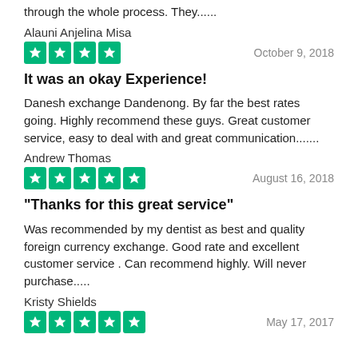through the whole process. They......
Alauni Anjelina Misa
[Figure (other): 5 green star rating boxes with white stars (Trustpilot style), date: October 9, 2018]
It was an okay Experience!
Danesh exchange Dandenong. By far the best rates going. Highly recommend these guys. Great customer service, easy to deal with and great communication.......
Andrew Thomas
[Figure (other): 5 green star rating boxes with white stars (Trustpilot style), date: August 16, 2018]
"Thanks for this great service"
Was recommended by my dentist as best and quality foreign currency exchange. Good rate and excellent customer service . Can recommend highly. Will never purchase.....
Kristy Shields
[Figure (other): 5 green star rating boxes with white stars (Trustpilot style), date: May 17, 2017]